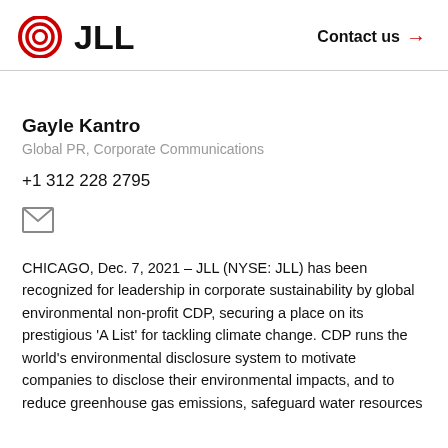JLL | Contact us →
Gayle Kantro
Global PR, Corporate Communications
+1 312 228 2795
[Figure (illustration): Email envelope icon]
CHICAGO, Dec. 7, 2021 – JLL (NYSE: JLL) has been recognized for leadership in corporate sustainability by global environmental non-profit CDP, securing a place on its prestigious 'A List' for tackling climate change. CDP runs the world's environmental disclosure system to motivate companies to disclose their environmental impacts, and to reduce greenhouse gas emissions, safeguard water resources